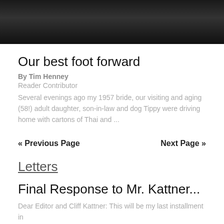[Figure (photo): Black and white photo of several people dressed in dark clothing, cropped at the top of the page]
Our best foot forward
By Tim Henney
Reader Contributor
Several evenings ago my 1957 bride, our visiting and aging (58!) adult daughter, son-in-law and dog Tippy were driving home with cartons of Thai and ...
« Previous Page
Next Page »
Letters
Final Response to Mr. Kattner...
Dear Editor and Cliff Kattner: This will be my last installment in